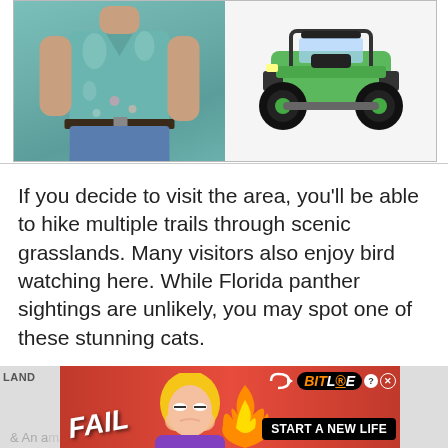[Figure (photo): Two product images side by side: left shows a person wearing a teal/green Hawaiian floral shirt with jeans and a belt; right shows a green and black toy off-road vehicle/ATV]
If you decide to visit the area, you'll be able to hike multiple trails through scenic grasslands. Many visitors also enjoy bird watching here. While Florida panther sightings are unlikely, you may spot one of these stunning cats.
[Figure (screenshot): Advertisement banner: BitLife - Start a New Life game ad with 'FAIL' text, cartoon character, flames, on red background with black BitLife logo]